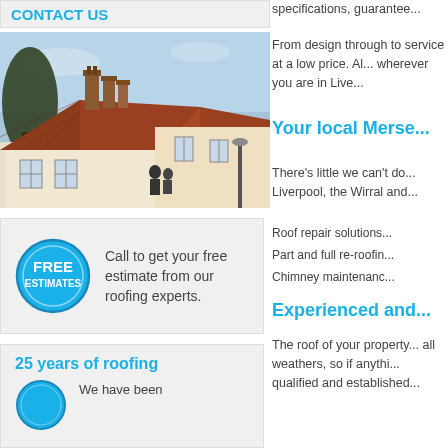CONTACT US
[Figure (photo): Photograph of traditional English cottages with brick chimneys and tiled roofs, trees visible in background]
specifications, guarantee...
From design through to service at a low price. Al... wherever you are in Live...
Your local Mers...
There's little we can't do... Liverpool, the Wirral and...
Roof repair solutions...
Part and full re-roofin...
Chimney maintenanc...
[Figure (infographic): Blue circular badge with text FREE ESTIMATES inside]
Call to get your free estimate from our roofing experts.
Experienced and...
The roof of your property... all weathers, so if anythi... qualified and established...
25 years of roofing
We have been